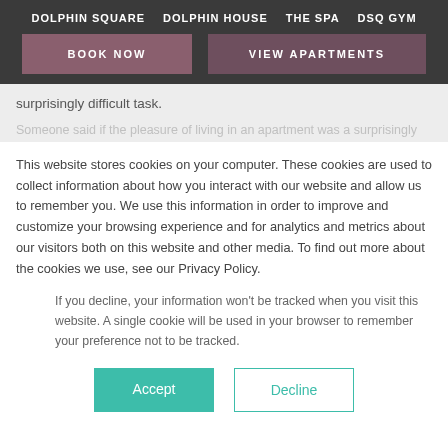DOLPHIN SQUARE   DOLPHIN HOUSE   THE SPA   DSQ GYM
BOOK NOW   VIEW APARTMENTS
surprisingly difficult task.
This website stores cookies on your computer. These cookies are used to collect information about how you interact with our website and allow us to remember you. We use this information in order to improve and customize your browsing experience and for analytics and metrics about our visitors both on this website and other media. To find out more about the cookies we use, see our Privacy Policy.
If you decline, your information won't be tracked when you visit this website. A single cookie will be used in your browser to remember your preference not to be tracked.
Accept   Decline